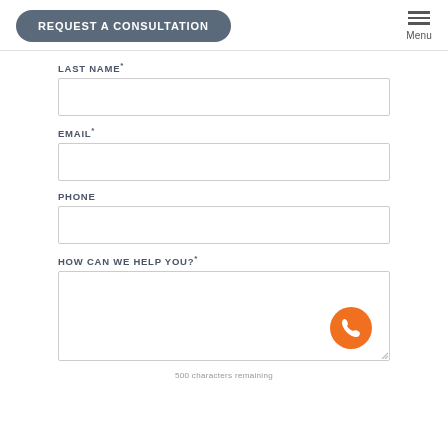REQUEST A CONSULTATION
LAST NAME*
EMAIL*
PHONE
HOW CAN WE HELP YOU?*
[Figure (illustration): Orange circular phone/call button icon]
500 characters remaining